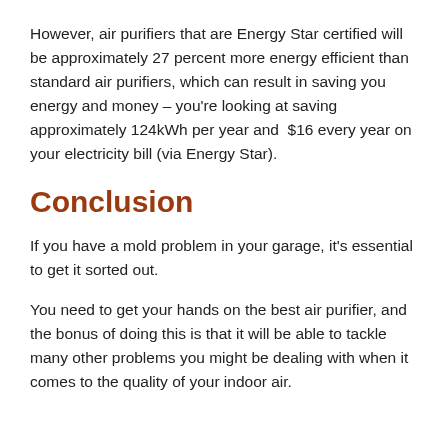However, air purifiers that are Energy Star certified will be approximately 27 percent more energy efficient than standard air purifiers, which can result in saving you energy and money – you're looking at saving approximately 124kWh per year and $16 every year on your electricity bill (via Energy Star).
Conclusion
If you have a mold problem in your garage, it's essential to get it sorted out.
You need to get your hands on the best air purifier, and the bonus of doing this is that it will be able to tackle many other problems you might be dealing with when it comes to the quality of your indoor air.